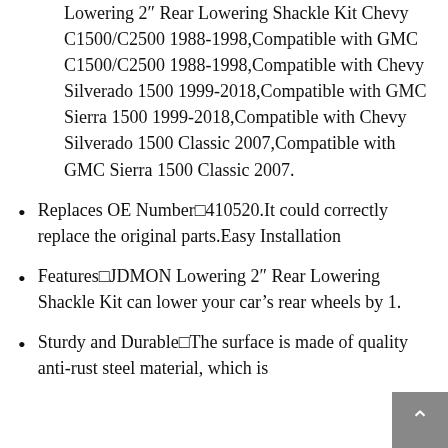Lowering 2″ Rear Lowering Shackle Kit Chevy C1500/C2500 1988-1998,Compatible with GMC C1500/C2500 1988-1998,Compatible with Chevy Silverado 1500 1999-2018,Compatible with GMC Sierra 1500 1999-2018,Compatible with Chevy Silverado 1500 Classic 2007,Compatible with GMC Sierra 1500 Classic 2007.
Replaces OE Number□410520.It could correctly replace the original parts.Easy Installation
Features□JDMON Lowering 2″ Rear Lowering Shackle Kit can lower your car’s rear wheels by 1.
Sturdy and Durable□The surface is made of quality anti-rust steel material, which is